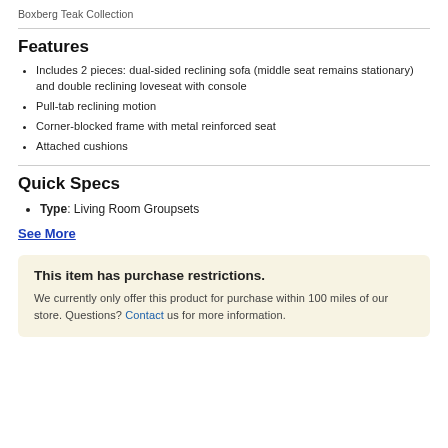Boxberg Teak Collection
Features
Includes 2 pieces: dual-sided reclining sofa (middle seat remains stationary) and double reclining loveseat with console
Pull-tab reclining motion
Corner-blocked frame with metal reinforced seat
Attached cushions
Quick Specs
Type: Living Room Groupsets
See More
This item has purchase restrictions. We currently only offer this product for purchase within 100 miles of our store. Questions? Contact us for more information.